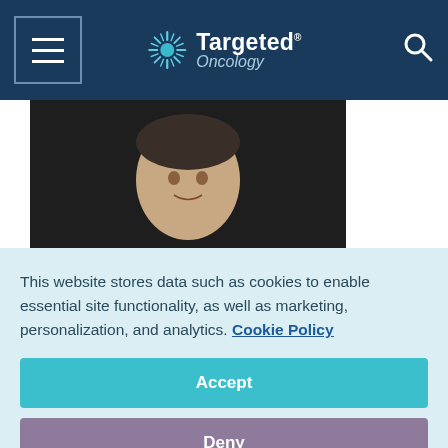Targeted Oncology
[Figure (photo): Headshot of Jeffrey A. Drebin, MD, PhD, wearing a dark suit and red tie]
Jeffrey A. Drebin, MD, PhD
Jeffrey A. Drebin, MD, PhD
Jeffrey A. Drebin, MD, PhD, has been named
This website stores data such as cookies to enable essential site functionality, as well as marketing, personalization, and analytics. Cookie Policy
Accept
Deny